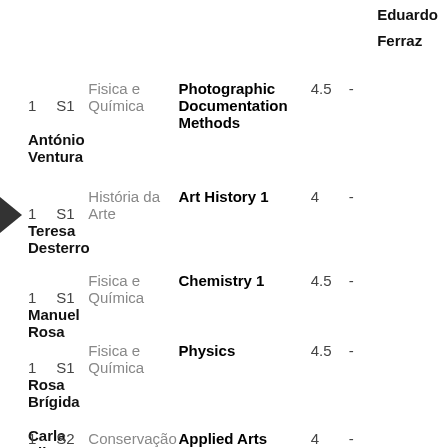| Year | Semester | Department | Course | Credits |  | Teacher |
| --- | --- | --- | --- | --- | --- | --- |
|  |  |  |  |  | - | Eduardo
Ferraz |
| 1 | S1 | Fisica e Química | Photographic Documentation Methods | 4.5 | - | António Ventura |
| 1 | S1 | História da Arte | Art History 1 | 4 | - | Teresa Desterro |
| 1 | S1 | Fisica e Química | Chemistry 1 | 4.5 | - | Manuel Rosa |
| 1 | S1 | Fisica e Química | Physics | 4.5 | - | Rosa Brígida
Carla Silva |
| 1 | S2 | Conservação | Applied Arts | 4 | - | Fernando |